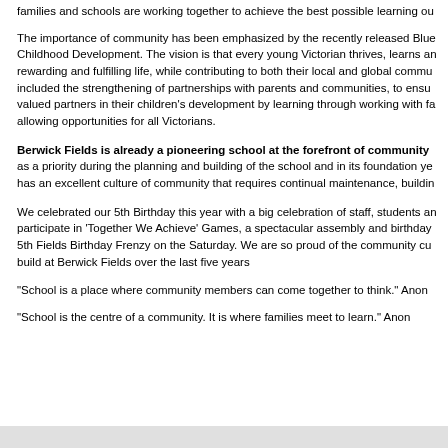families and schools are working together to achieve the best possible learning ou
The importance of community has been emphasized by the recently released Blue... Childhood Development. The vision is that every young Victorian thrives, learns and rewarding and fulfilling life, while contributing to both their local and global commu... included the strengthening of partnerships with parents and communities, to ensu... valued partners in their children's development by learning through working with fa... allowing opportunities for all Victorians.
Berwick Fields is already a pioneering school at the forefront of community... as a priority during the planning and building of the school and in its foundation ye... has an excellent culture of community that requires continual maintenance, buildin...
We celebrated our 5th Birthday this year with a big celebration of staff, students an... participate in 'Together We Achieve' Games, a spectacular assembly and birthday... 5th Fields Birthday Frenzy on the Saturday. We are so proud of the community cu... build at Berwick Fields over the last five years
“School is a place where community members can come together to think.” Anon
“School is the centre of a community. It is where families meet to learn.” Anon